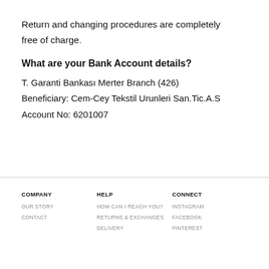Return and changing procedures are completely free of charge.
What are your Bank Account details?
T. Garanti Bankası Merter Branch (426)
Beneficiary: Cem-Cey Tekstil Urunleri San.Tic.A.S
Account No: 6201007
COMPANY | OUR STORY | CONTACT | HELP | HOW CAN I REACH YOU? | RETURNS & EXCHANGES | DELIVERY | CONNECT | INSTAGRAM | FACEBOOK | PINTEREST